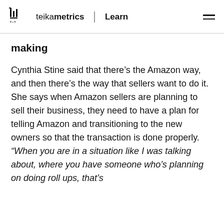teikametrics | Learn
making
Cynthia Stine said that there’s the Amazon way, and then there’s the way that sellers want to do it. She says when Amazon sellers are planning to sell their business, they need to have a plan for telling Amazon and transitioning to the new owners so that the transaction is done properly.
“When you are in a situation like I was talking about, where you have someone who’s planning on doing roll ups, that’s their business model. They definitely you and